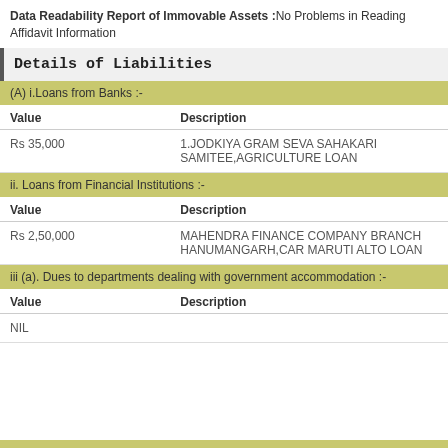Data Readability Report of Immovable Assets :No Problems in Reading Affidavit Information
Details of Liabilities
| Value | Description |
| --- | --- |
| Rs 35,000 | 1.JODKIYA GRAM SEVA SAHAKARI SAMITEE,AGRICULTURE LOAN |
| Value | Description |
| --- | --- |
| Rs 2,50,000 | MAHENDRA FINANCE COMPANY BRANCH HANUMANGARH,CAR MARUTI ALTO LOAN |
| Value | Description |
| --- | --- |
| NIL |  |